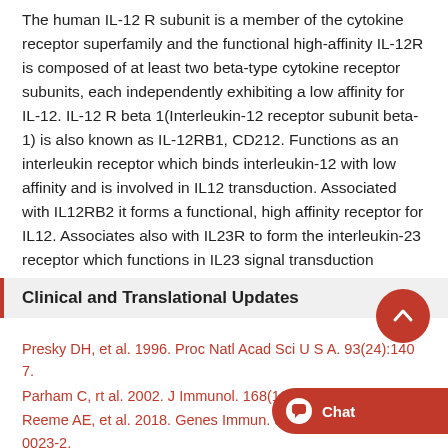The human IL-12 R subunit is a member of the cytokine receptor superfamily and the functional high-affinity IL-12R is composed of at least two beta-type cytokine receptor subunits, each independently exhibiting a low affinity for IL-12. IL-12 R beta 1(Interleukin-12 receptor subunit beta-1) is also known as IL-12RB1, CD212. Functions as an interleukin receptor which binds interleukin-12 with low affinity and is involved in IL12 transduction. Associated with IL12RB2 it forms a functional, high affinity receptor for IL12. Associates also with IL23R to form the interleukin-23 receptor which functions in IL23 signal transduction probably through activation of the Jak-Stat signaling cascade.
Clinical and Translational Updates
Presky DH, et al. 1996. Proc Natl Acad Sci U S A. 93(24):14002-7.
Parham C, rt al. 2002. J Immunol. 168(11):5699-708.
Reeme AE, et al. 2018. Genes Immun. doi: 10.1038/s41435-018-0023-2.